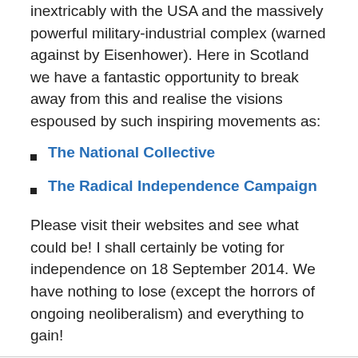inextricably with the USA and the massively powerful military-industrial complex (warned against by Eisenhower). Here in Scotland we have a fantastic opportunity to break away from this and realise the visions espoused by such inspiring movements as:
The National Collective
The Radical Independence Campaign
Please visit their websites and see what could be! I shall certainly be voting for independence on 18 September 2014. We have nothing to lose (except the horrors of ongoing neoliberalism) and everything to gain!
And finally… here's Resurgence magazine's inspiring site, if you want to know what an entire world without neoliberalism could be like and how we might get there!